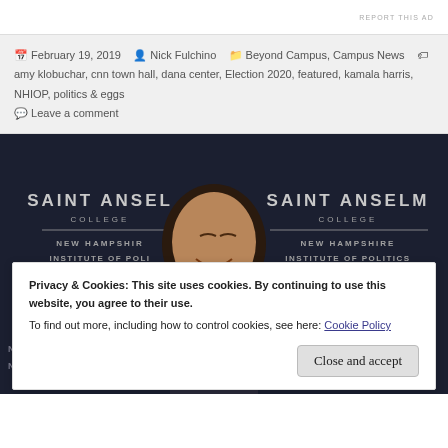REPORT THIS AD
February 19, 2019  Nick Fulchino  Beyond Campus, Campus News  amy klobuchar, cnn town hall, dana center, Election 2020, featured, kamala harris, NHIOP, politics & eggs  Leave a comment
[Figure (photo): A smiling man in front of Saint Anselm College / New Hampshire Institute of Politics backdrop banners]
Privacy & Cookies: This site uses cookies. By continuing to use this website, you agree to their use.
To find out more, including how to control cookies, see here: Cookie Policy
Close and accept